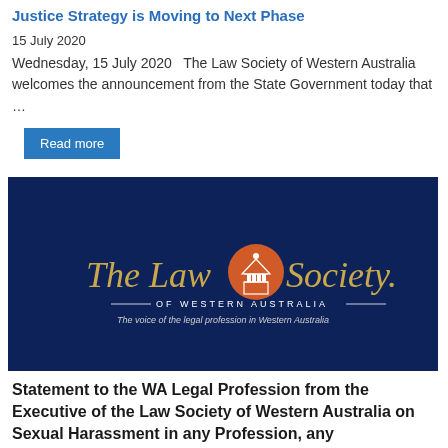Justice Strategy is Moving to Next Phase
15 July 2020
Wednesday, 15 July 2020   The Law Society of Western Australia welcomes the announcement from the State Government today that …
Read more
[Figure (logo): The Law Society of Western Australia logo on dark navy blue background. Gold italic text reads 'The Law Society.' with an orange circular emblem in the middle featuring a classical building/scales. Below: 'OF WESTERN AUSTRALIA' in white spaced caps with decorative lines, and tagline 'The voice of the legal profession in Western Australia' in italic white.]
Statement to the WA Legal Profession from the Executive of the Law Society of Western Australia on Sexual Harassment in any Profession, any